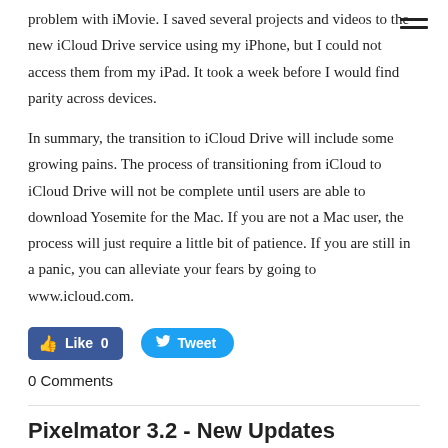☰
problem with iMovie. I saved several projects and videos to the new iCloud Drive service using my iPhone, but I could not access them from my iPad. It took a week before I would find parity across devices.
In summary, the transition to iCloud Drive will include some growing pains. The process of transitioning from iCloud to iCloud Drive will not be complete until users are able to download Yosemite for the Mac. If you are not a Mac user, the process will just require a little bit of patience. If you are still in a panic, you can alleviate your fears by going to www.icloud.com.
[Figure (other): Facebook Like button (0 likes) and Twitter Tweet button]
0 Comments
Pixelmator 3.2 - New Updates